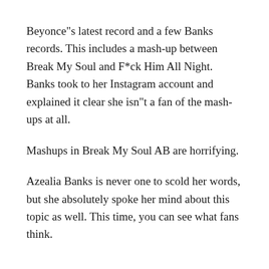Beyonce"s latest record and a few Banks records. This includes a mash-up between Break My Soul and F*ck Him All Night. Banks took to her Instagram account and explained it clear she isn"t a fan of the mash-ups at all.
Mashups in Break My Soul AB are horrifying.
Azealia Banks is never one to scold her words, but she absolutely spoke her mind about this topic as well. This time, you can see what fans think.
YOU MAY ALSO LIKE:
23 Most Expensive Vodka Bottles To Drink With Your Friends
23 Amazing Tattoo Ideas That Will Make You Special And Unique